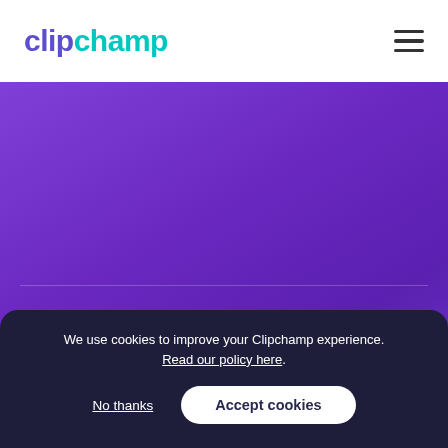clipchamp
[Figure (screenshot): Purple gradient hero background with a faint horizontal divider line]
Simplify your video workflow
Create, store and share videos online with Clipchamp and Dropbox.
We use cookies to improve your Clipchamp experience. Read our policy here.
No thanks
Accept cookies